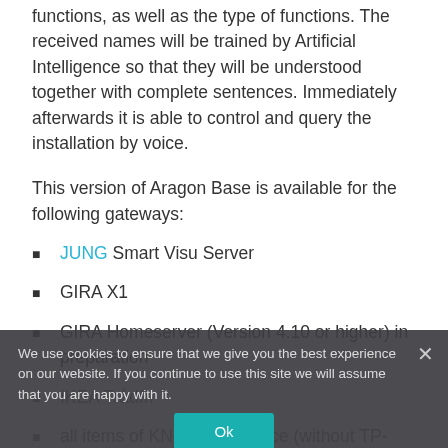functions, as well as the type of functions. The received names will be trained by Artificial Intelligence so that they will be understood together with complete sentences. Immediately afterwards it is able to control and query the installation by voice.
This version of Aragon Base is available for the following gateways:
JUNG Smart Visu Server
GIRA X1
GIRA Homeserver (Version 4.10 or higher) in preparation
IKEA Trådfri
all items of KNX / IP-interface (without TP-routing) / with additional configuration – no plug-and-play
We use cookies to ensure that we give you the best experience on our website. If you continue to use this site we will assume that you are happy with it.